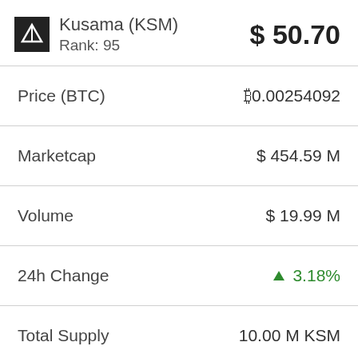Kusama (KSM) Rank: 95 $ 50.70
|  |  |
| --- | --- |
| Price (BTC) | ₿0.00254092 |
| Marketcap | $ 454.59 M |
| Volume | $ 19.99 M |
| 24h Change | ▲ 3.18% |
| Total Supply | 10.00 M KSM |